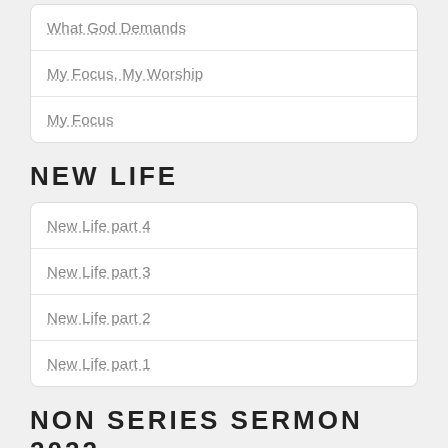What God Demands
My Focus, My Worship
My Focus
NEW LIFE
New Life part 4
New Life part 3
New Life part 2
New Life part 1
NON SERIES SERMON 2022